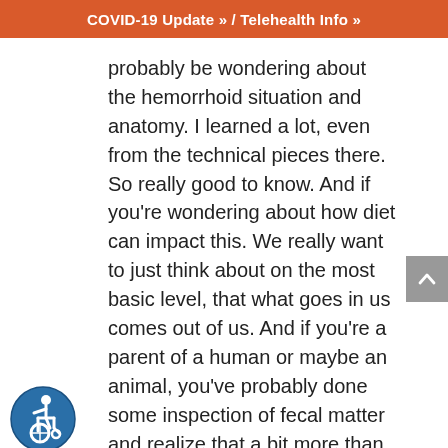COVID-19 Update » / Telehealth Info »
probably be wondering about the hemorrhoid situation and anatomy. I learned a lot, even from the technical pieces there. So really good to know. And if you're wondering about how diet can impact this. We really want to just think about on the most basic level, that what goes in us comes out of us. And if you're a parent of a human or maybe an animal, you've probably done some inspection of fecal matter and realize that a bit more than inspecting your own stool. But you can see evidence of previous meals sometimes, and particularly when that meal contains some plant fiber, which I'm going to talk a bunch about for a few minutes. But the big concept here is really that what we eat has the ability to affect
[Figure (illustration): Accessibility icon: blue circle with white wheelchair user symbol]